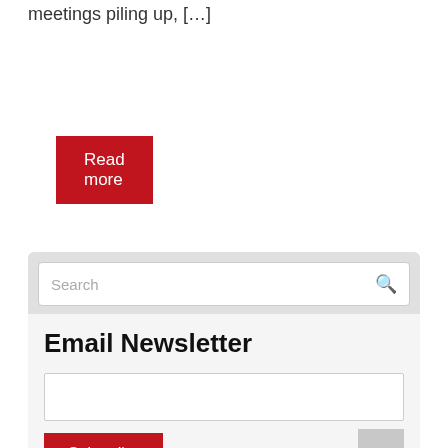meetings piling up, [...]
Read more
1 2 3 4 5 6 7
Search
Email Newsletter
Subscribe